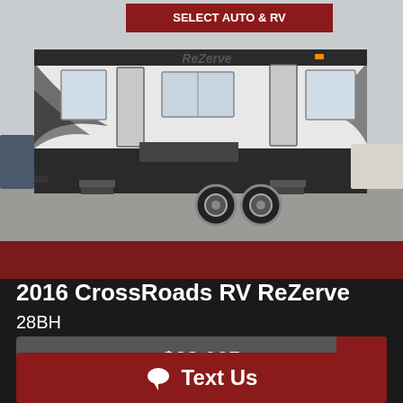[Figure (photo): Exterior photo of a 2016 CrossRoads RV ReZerve 28BH travel trailer parked at a dealership lot. A sign reading 'Select Auto & RV' is visible in the background.]
2016 CrossRoads RV ReZerve 28BH
Retail $23,995
Text Us